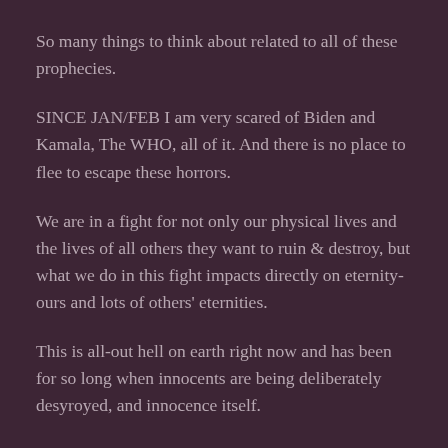So many things to think about related to all of these prophecies.
SINCE JAN/FEB I am very scared of Biden and Kamala, The WHO, all of it. And there is no place to flee to escape these horrors.
We are in a fight for not only our physical lives and the lives of all others they want to ruin & destroy, but what we do in this fight impacts directly on eternity-ours and lots of others' eternities.
This is all-out hell on earth right now and has been for so long when innocents are being deliberately desyroyed, and innocence itself.